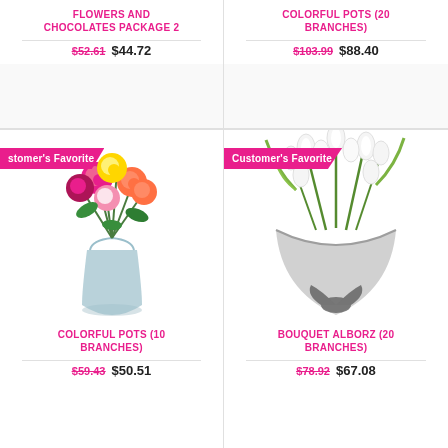FLOWERS AND CHOCOLATES PACKAGE 2
$52.61 $44.72
[Figure (photo): Colorful roses bouquet in a glass vase with Customer's Favorite badge]
COLORFUL POTS (10 BRANCHES)
$59.43 $50.51
COLORFUL POTS (20 BRANCHES)
$103.99 $88.40
[Figure (photo): White tulip bouquet wrapped in grey ribbon with Customer's Favorite badge]
BOUQUET ALBORZ (20 BRANCHES)
$78.92 $67.08